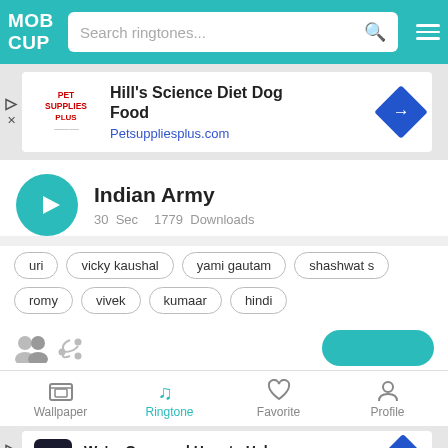[Figure (screenshot): MobCup app header with logo, search bar, and hamburger menu on teal background]
[Figure (screenshot): Advertisement banner for Hill's Science Diet Dog Food - Petsuppliesplus.com]
Indian Army
30  Sec     1779  Downloads
uri
vicky kaushal
yami gautam
shashwat s
romy
vivek
kumaar
hindi
[Figure (screenshot): Bottom navigation bar with Wallpaper, Ringtone (active), Favorite, Profile icons]
[Figure (screenshot): Advertisement banner for CarMax - We're Open and Here to Help]